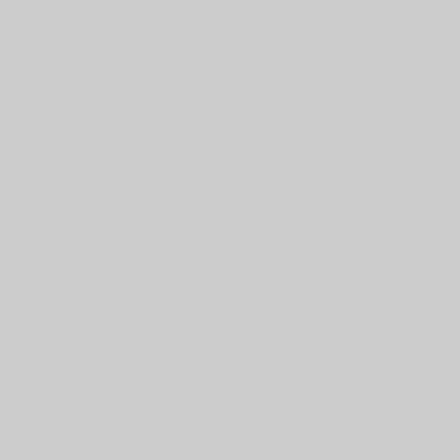[Figure (other): Gray panel occupying the left portion of the page]
receipts, and expenditures; his journals, 1856-1860 and 1870-1871, Stephen A. Norfleet recorded daily agricultural activities and health of his slaves. He also kept notes on navigation on Roanoke River. Two volumes of the diary, 1882-1892, of Ernest Norfleet (1855-1901), a U.S. Navy surgeon on a voyage to China and Japan, include descriptions of travel and social life in the Far East and references to